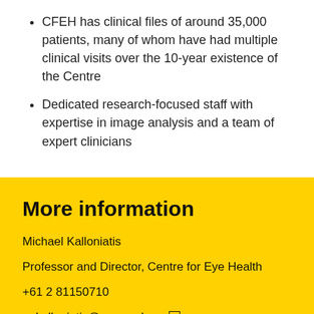CFEH has clinical files of around 35,000 patients, many of whom have had multiple clinical visits over the 10-year existence of the Centre
Dedicated research-focused staff with expertise in image analysis and a team of expert clinicians
More information
Michael Kalloniatis
Professor and Director, Centre for Eye Health
+61 2 81150710
m.kalloniatis@unsw.edu.au